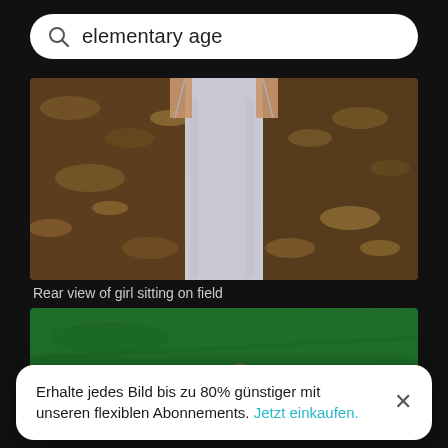elementary age
[Figure (photo): Rear view of a child in a white tank top sitting on a field covered with autumn leaves, photographed from above]
Rear view of girl sitting on field
[Figure (photo): Aerial view of a child wearing sunglasses lying on green grass with hands behind head, wearing a pink shirt]
Erhalte jedes Bild bis zu 80% günstiger mit unseren flexiblen Abonnements. Jetzt einkaufen.